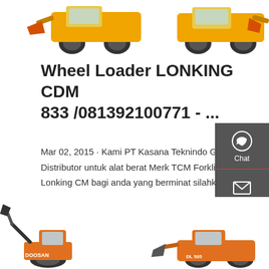[Figure (photo): Wheel loaders / heavy machinery at top of page]
Wheel Loader LONKING CDM 833 /081392100771 - …
Mar 02, 2015 · Kami PT Kasana Teknindo Gemilang adalah Distributor untuk alat berat Merk TCM Forklift, Kion Baoli dan Lonking CM bagi anda yang berminat silahkan hubungi Sa
Get a quote
[Figure (photo): Doosan excavator and wheel loader at bottom of page]